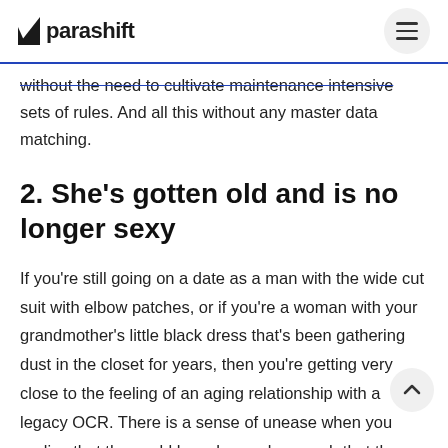parashift
without the need to cultivate maintenance intensive sets of rules. And all this without any master data matching.
2. She’s gotten old and is no longer sexy
If you’re still going on a date as a man with the wide cut suit with elbow patches, or if you’re a woman with your grandmother’s little black dress that’s been gathering dust in the closet for years, then you’re getting very close to the feeling of an aging relationship with a legacy OCR. There is a sense of unease when you realize that the world has changed so much that the look is no longer appropriate, or keeping up with the